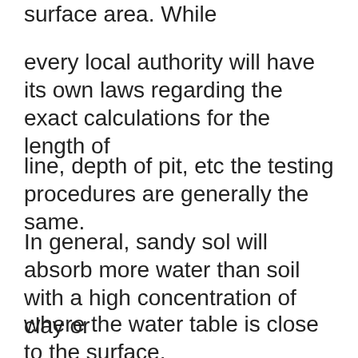surface area. While
every local authority will have its own laws regarding the exact calculations for the length of
line, depth of pit, etc the testing procedures are generally the same.
In general, sandy sol will absorb more water than soil with a high concentration of clay or
where the water table is close to the surface.